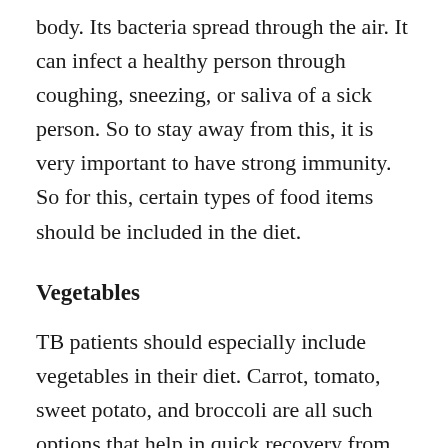body. Its bacteria spread through the air. It can infect a healthy person through coughing, sneezing, or saliva of a sick person. So to stay away from this, it is very important to have strong immunity. So for this, certain types of food items should be included in the diet.
Vegetables
TB patients should especially include vegetables in their diet. Carrot, tomato, sweet potato, and broccoli are all such options that help in quick recovery from TB. These vegetables also contain a significant amount of antioxidants that work to fight free radicals, due to which many types of diseases